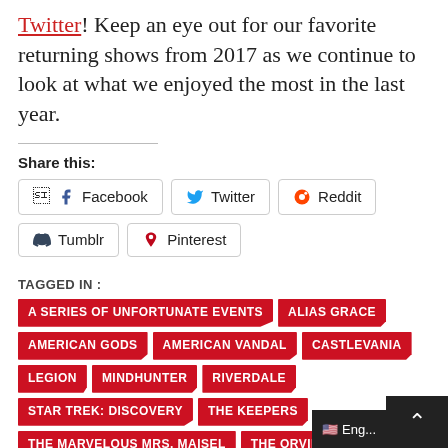Twitter! Keep an eye out for our favorite returning shows from 2017 as we continue to look at what we enjoyed the most in the last year.
Share this:
Facebook  Twitter  Reddit  Tumblr  Pinterest
TAGGED IN : A SERIES OF UNFORTUNATE EVENTS  ALIAS GRACE  AMERICAN GODS  AMERICAN VANDAL  CASTLEVANIA  LEGION  MINDHUNTER  RIVERDALE  STAR TREK: DISCOVERY  THE KEEPERS  THE MARVELOUS MRS. MAISEL  THE ORVILLE  THE PUNISHER